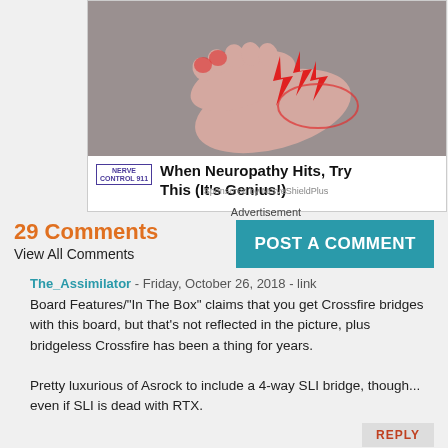[Figure (photo): Advertisement showing a foot with red lightning bolt graphics indicating neuropathy pain, with Nerve Control 911 branding and headline 'When Neuropathy Hits, Try This (It's Genius!)']
Advertisement
29 Comments
View All Comments
POST A COMMENT
The_Assimilator - Friday, October 26, 2018 - link
Board Features/"In The Box" claims that you get Crossfire bridges with this board, but that's not reflected in the picture, plus bridgeless Crossfire has been a thing for years.

Pretty luxurious of Asrock to include a 4-way SLI bridge, though... even if SLI is dead with RTX.
REPLY
GreenReaper - Sunday, October 28, 2018 - link
I think the points just go through the board and the attachment